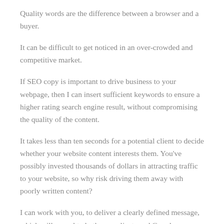Quality words are the difference between a browser and a buyer.
It can be difficult to get noticed in an over-crowded and competitive market.
If SEO copy is important to drive business to your webpage, then I can insert sufficient keywords to ensure a higher rating search engine result, without compromising the quality of the content.
It takes less than ten seconds for a potential client to decide whether your website content interests them. You've possibly invested thousands of dollars in attracting traffic to your website, so why risk driving them away with poorly written content?
I can work with you, to deliver a clearly defined message, which will appeal to both your clients and Google.